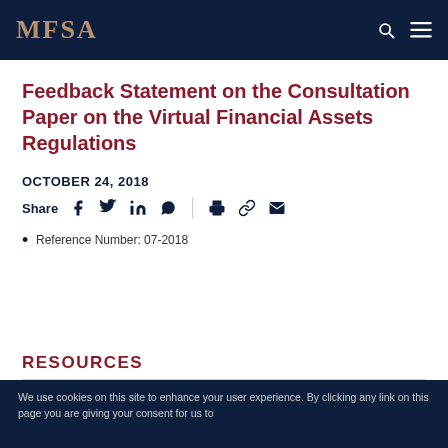MFSA
Feedback Statement on the Consultation Paper on the Virtual Financial Assets Regulations
OCTOBER 24, 2018
Share
Reference Number: 07-2018
RESOURCES
We use cookies on this site to enhance your user experience. By clicking any link on this page you are giving your consent for us to